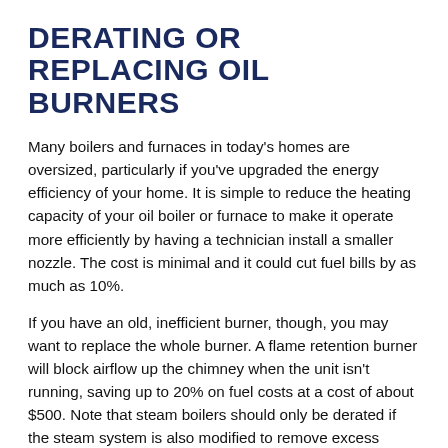DERATING OR REPLACING OIL BURNERS
Many boilers and furnaces in today's homes are oversized, particularly if you've upgraded the energy efficiency of your home. It is simple to reduce the heating capacity of your oil boiler or furnace to make it operate more efficiently by having a technician install a smaller nozzle. The cost is minimal and it could cut fuel bills by as much as 10%.
If you have an old, inefficient burner, though, you may want to replace the whole burner. A flame retention burner will block airflow up the chimney when the unit isn't running, saving up to 20% on fuel costs at a cost of about $500. Note that steam boilers should only be derated if the steam system is also modified to remove excess radiators, which is a tricky procedure.
MODULATING AQUASTATS